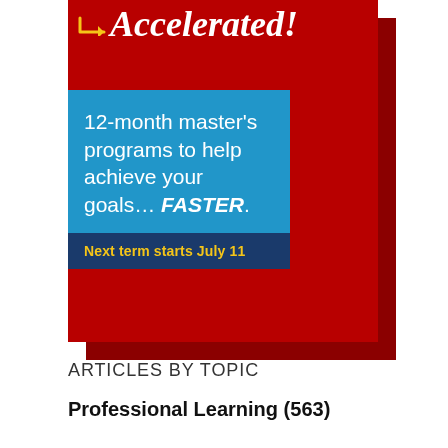[Figure (infographic): Advertisement banner with red background. Shows italic bold white text 'Accelerated!' with a yellow arrow, overlaid by a blue box containing white text '12-month master’s programs to help achieve your goals… FASTER.' and a dark blue bar at the bottom with yellow text 'Next term starts July 11'.]
ARTICLES BY TOPIC
Professional Learning (563)